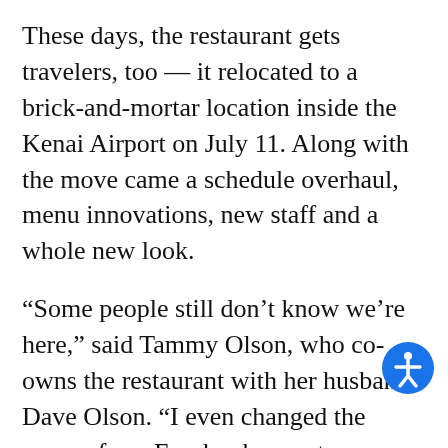These days, the restaurant gets travelers, too — it relocated to a brick-and-mortar location inside the Kenai Airport on July 11. Along with the move came a schedule overhaul, menu innovations, new staff and a whole new look.
“Some people still don’t know we’re here,” said Tammy Olson, who co-owns the restaurant with her husband Dave Olson. “I even changed the name of our Facebook page to ‘Double O Express at the Kenai Airport.’”
Occupying the space that used to house Odie’s Deli, the new restaurant expanded from its constrained former space to a full-service kitchen with seating, a soda machine, walls for artwork and windows to watch planes take off and land. Tammy Olson s…